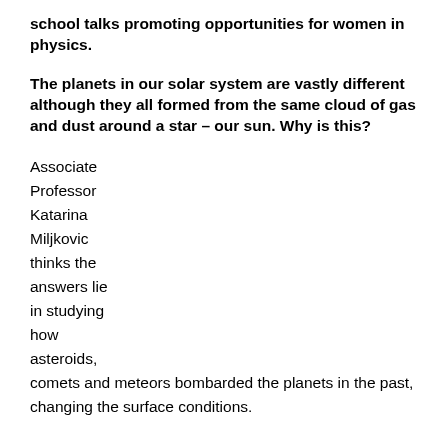school talks promoting opportunities for women in physics.
The planets in our solar system are vastly different although they all formed from the same cloud of gas and dust around a star – our sun. Why is this?
Associate Professor Katarina Miljkovic thinks the answers lie in studying how asteroids, comets and meteors bombarded the planets in the past, changing the surface conditions.